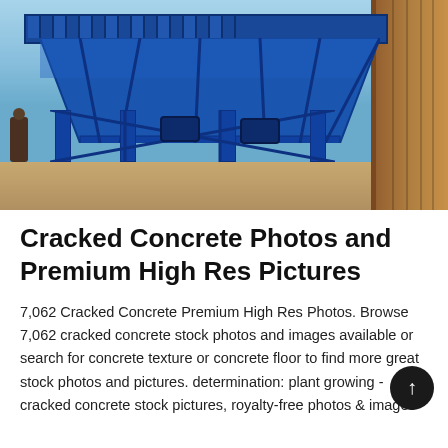[Figure (photo): Large blue industrial concrete batching plant / aggregate bin conveyor system on a sandy ground, with a person visible on the left and a shipping container on the right. The machine is predominantly painted in bright blue.]
Cracked Concrete Photos and Premium High Res Pictures
7,062 Cracked Concrete Premium High Res Photos. Browse 7,062 cracked concrete stock photos and images available or search for concrete texture or concrete floor to find more great stock photos and pictures. determination: plant growing - cracked concrete stock pictures, royalty-free photos & images